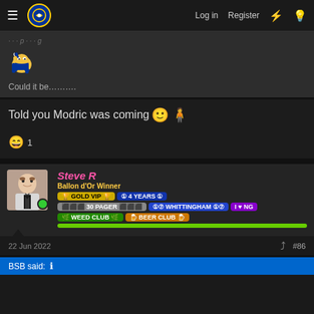Log in  Register
[Figure (screenshot): Forum post with cartoon mascot emoji image and text 'Could it be……….']
Told you Modric was coming 🙂🧍
😄 1
Steve R – Ballon d'Or Winner – GOLD VIP – 4 YEARS – 30 PAGER – WHITTINGHAM – I ♥ NG – WEED CLUB – BEER CLUB
22 Jun 2022  #86